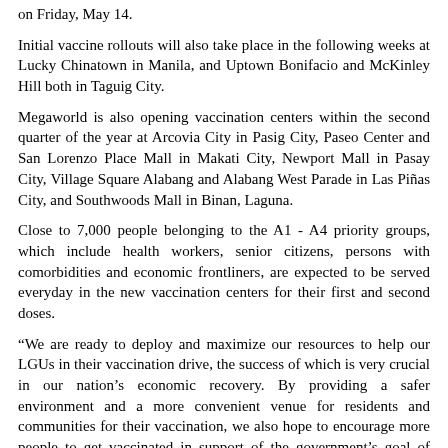on Friday, May 14.
Initial vaccine rollouts will also take place in the following weeks at Lucky Chinatown in Manila, and Uptown Bonifacio and McKinley Hill both in Taguig City.
Megaworld is also opening vaccination centers within the second quarter of the year at Arcovia City in Pasig City, Paseo Center and San Lorenzo Place Mall in Makati City, Newport Mall in Pasay City, Village Square Alabang and Alabang West Parade in Las Piñas City, and Southwoods Mall in Binan, Laguna.
Close to 7,000 people belonging to the A1 - A4 priority groups, which include health workers, senior citizens, persons with comorbidities and economic frontliners, are expected to be served everyday in the new vaccination centers for their first and second doses.
“We are ready to deploy and maximize our resources to help our LGUs in their vaccination drive, the success of which is very crucial in our nation’s economic recovery. By providing a safer environment and a more convenient venue for residents and communities for their vaccination, we also hope to encourage more people to get vaccinated in support of the government’s goal of achieving herd immunity by the end of 2021,” says Graham Coates Head of Megaworld Lifestyle Malls.